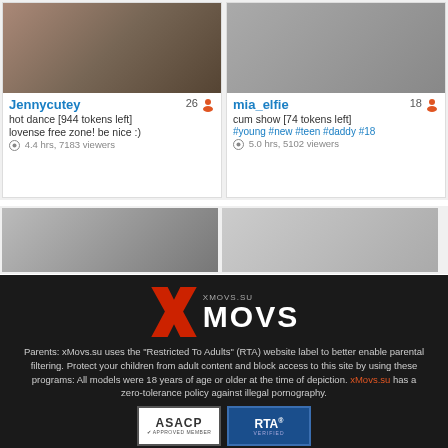[Figure (screenshot): Thumbnail card for Jennycutey, age 26, hot dance [944 tokens left], lovense free zone! be nice :), 4.4 hrs, 7183 viewers]
[Figure (screenshot): Thumbnail card for mia_elfie, age 18, cum show [74 tokens left], #young #new #teen #daddy #18, 5.0 hrs, 5102 viewers]
[Figure (screenshot): Two partial thumbnail cards in bottom row]
[Figure (logo): XMOVS.SU logo with large red X and white MOVS text on dark background]
Parents: xMovs.su uses the "Restricted To Adults" (RTA) website label to better enable parental filtering. Protect your children from adult content and block access to this site by using these programs: All models were 18 years of age or older at the time of depiction. xMovs.su has a zero-tolerance policy against illegal pornography.
[Figure (logo): ASACP Approved Member badge and RTA Verified badge]
18 U.S.C. 2257 Record-Keeping Requirements Compliance Statement
NetNanny